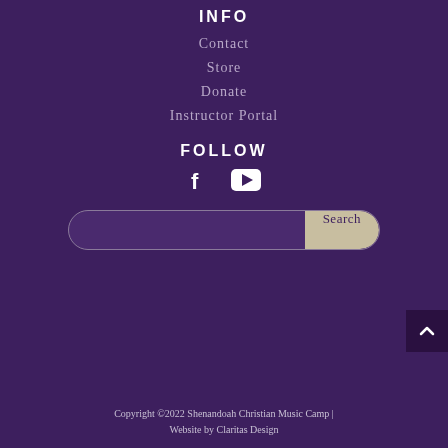INFO
Contact
Store
Donate
Instructor Portal
FOLLOW
[Figure (other): Social media icons: Facebook and YouTube]
[Figure (other): Search bar with Search button]
Copyright ©2022 Shenandoah Christian Music Camp | Website by Claritas Design